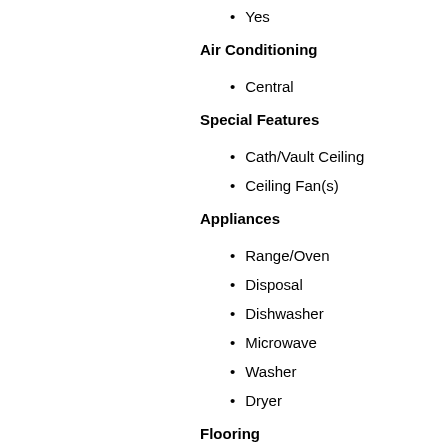Yes
Air Conditioning
Central
Special Features
Cath/Vault Ceiling
Ceiling Fan(s)
Appliances
Range/Oven
Disposal
Dishwasher
Microwave
Washer
Dryer
Flooring
Carpet
Wood